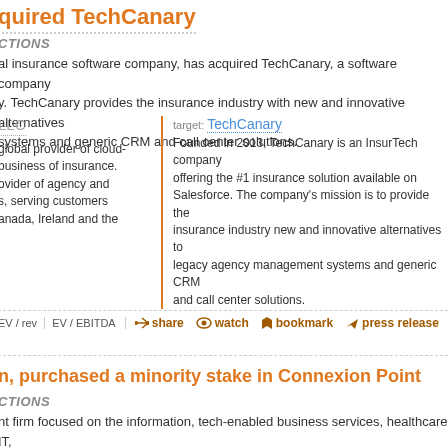quired TechCanary
CTIONS
al insurance software company, has acquired TechCanary, a software company y. TechCanary provides the insurance industry with new and innovative alternatives systems and generic CRM and call center solutions.
LLC
target: TechCanary
Founded in 2013, TechCanary is an InsurTech company offering the #1 insurance solution available on Salesforce. The company's mission is to provide the insurance industry new and innovative alternatives to legacy agency management systems and generic CRM and call center solutions.
global provider of cloud- business of insurance. ovider of agency and s, serving customers anada, Ireland and the
EV / rev  EV / EBITDA  share  watch  bookmark  press release
n, purchased a minority stake in Connexion Point
CTIONS
nt firm focused on the information, tech-enabled business services, healthcare IT, nced its investment in Connexion Point, LLC. Connexion Point is a leading provider re services, specializing in communication lifecycle services for the healthcare